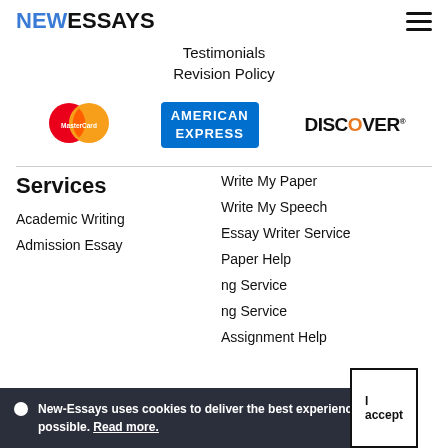NEWESSAYS
Testimonials
Revision Policy
[Figure (logo): MasterCard logo with red and orange overlapping circles]
[Figure (logo): American Express logo - blue rectangle with AMERICAN EXPRESS text in white]
[Figure (logo): Discover logo with orange circle in the letter O]
Services
Write My Paper
Write My Speech
Essay Writer Service
Paper Help
Academic Writing
Admission Essay
New-Essays uses cookies to deliver the best experience possible. Read more. I accept